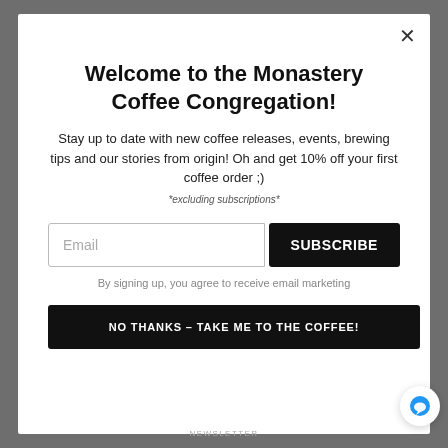Welcome to the Monastery Coffee Congregation!
Stay up to date with new coffee releases, events, brewing tips and our stories from origin! Oh and get 10% off your first coffee order ;)
*excluding subscriptions*
Email
SUBSCRIBE
By signing up, you agree to receive email marketing
NO THANKS – TAKE ME TO THE COFFEE!
NEWSLETTER